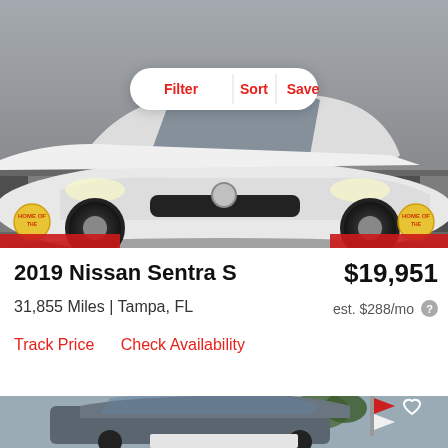[Figure (photo): White 2019 Nissan Sentra S photographed from front-low angle in a showroom with checkered floor. Three buttons (Filter, Sort, Save) overlaid at top center in a white pill-shaped bar.]
2019 Nissan Sentra S
$19,951
31,855 Miles | Tampa, FL
est. $288/mo
Track Price    Check Availability
[Figure (photo): Dark gray sedan photographed at a car dealership lot with flags and trees in background. Heart/favorite icon in top right corner.]